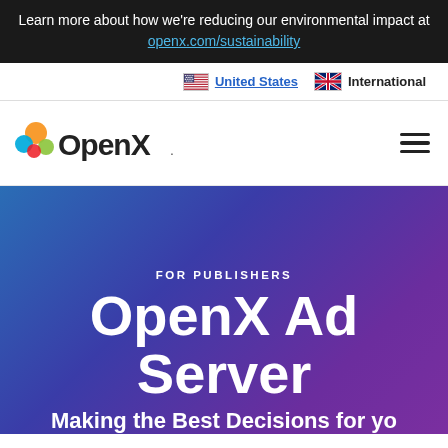Learn more about how we're reducing our environmental impact at openx.com/sustainability
United States  International
[Figure (logo): OpenX logo with colorful bubble icons and wordmark]
FOR PUBLISHERS
OpenX Ad Server
Making the Best Decisions for yo...